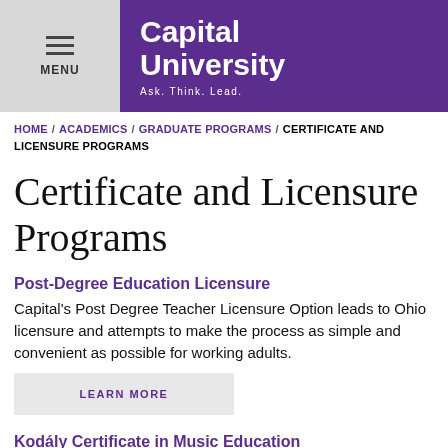Capital University — Ask. Think. Lead.
HOME / ACADEMICS / GRADUATE PROGRAMS / CERTIFICATE AND LICENSURE PROGRAMS
Certificate and Licensure Programs
Post-Degree Education Licensure
Capital's Post Degree Teacher Licensure Option leads to Ohio licensure and attempts to make the process as simple and convenient as possible for working adults.
LEARN MORE
Kodály Certificate in Music Education
For students interesting in pursuing certification in the